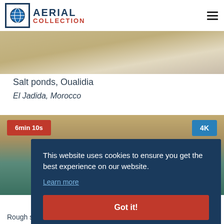AERIAL COLLECTION
[Figure (photo): Aerial view of salt ponds from above, warm sandy tones]
Salt ponds, Oualidia
El Jadida, Morocco
[Figure (photo): Aerial view of rough sea, rocky coast and beaches near Oualidia with duration badge 6min 10s and 4K badge]
This website uses cookies to ensure you get the best experience on our website.
Learn more
Got it!
Rough sea, rocky coast and beaches near Oualidia